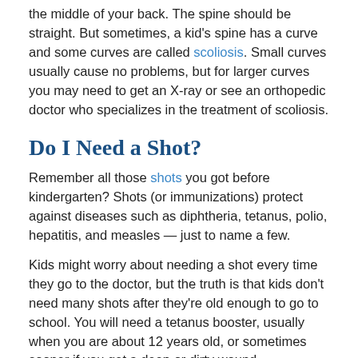the middle of your back. The spine should be straight. But sometimes, a kid's spine has a curve and some curves are called scoliosis. Small curves usually cause no problems, but for larger curves you may need to get an X-ray or see an orthopedic doctor who specializes in the treatment of scoliosis.
Do I Need a Shot?
Remember all those shots you got before kindergarten? Shots (or immunizations) protect against diseases such as diphtheria, tetanus, polio, hepatitis, and measles — just to name a few.
Kids might worry about needing a shot every time they go to the doctor, but the truth is that kids don't need many shots after they're old enough to go to school. You will need a tetanus booster, usually when you are about 12 years old, or sometimes sooner if you get a deep or dirty wound.
An annual flu shot is also recommended, especially for kids who have medical conditions (like asthma) that make them more likely to have health problems if they get the flu.
Question and Answer Time